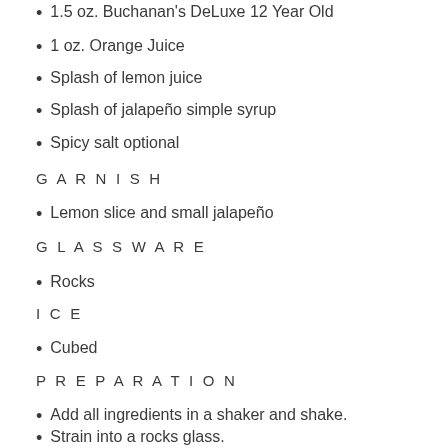1.5 oz. Buchanan's DeLuxe 12 Year Old
1 oz. Orange Juice
Splash of lemon juice
Splash of jalapeño simple syrup
Spicy salt optional
G A R N I S H
Lemon slice and small jalapeño
G L A S S W A R E
Rocks
I C E
Cubed
P R E P A R A T I O N
Add all ingredients in a shaker and shake.
Strain into a rocks glass.
Garnish with a lemon wheel, small pepper and